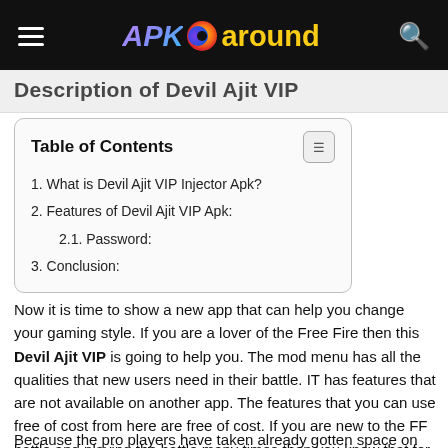APK around
Description of Devil Ajit VIP
| Table of Contents |
| --- |
| 1. What is Devil Ajit VIP Injector Apk? |
| 2. Features of Devil Ajit VIP Apk: |
| 2.1. Password: |
| 3. Conclusion: |
Now it is time to show a new app that can help you change your gaming style. If you are a lover of the Free Fire then this Devil Ajit VIP is going to help you. The mod menu has all the qualities that new users need in their battle. IT has features that are not available on another app. The features that you can use free of cost from here are free of cost. If you are new to the FF battle and playing the battle many times then you know that for a new player it is too difficult to win the battle.
Because the pro players have taken already gotten space on the